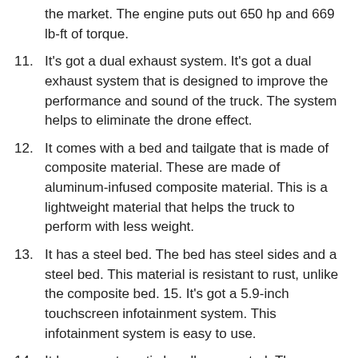the market. The engine puts out 650 hp and 669 lb-ft of torque.
11. It's got a dual exhaust system. It's got a dual exhaust system that is designed to improve the performance and sound of the truck. The system helps to eliminate the drone effect.
12. It comes with a bed and tailgate that is made of composite material. These are made of aluminum-infused composite material. This is a lightweight material that helps the truck to perform with less weight.
13. It has a steel bed. The bed has steel sides and a steel bed. This material is resistant to rust, unlike the composite bed. 15. It's got a 5.9-inch touchscreen infotainment system. This infotainment system is easy to use.
14. It has an automatic headlamp control. The automatic headlamp control is designed to reduce the headlight glare.